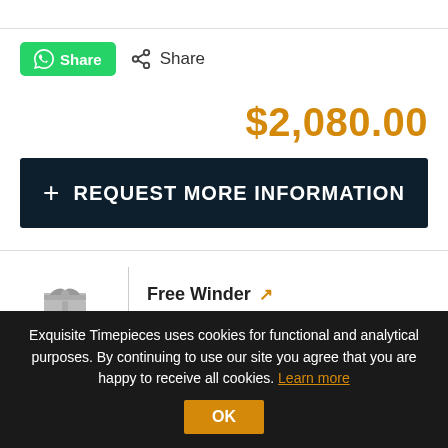Share  Share
$2,080.00
+ REQUEST MORE INFORMATION
Free Winder  WITH THIS WATCH
Global Shipping
Exquisite Timepieces uses cookies for functional and analytical purposes. By continuing to use our site you agree that you are happy to receive all cookies. Learn more  OK